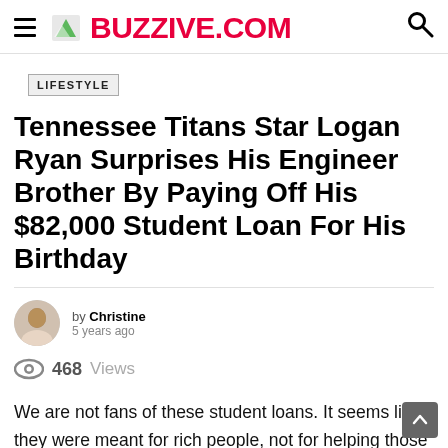BUZZIVE.COM
LIFESTYLE
Tennessee Titans Star Logan Ryan Surprises His Engineer Brother By Paying Off His $82,000 Student Loan For His Birthday
by Christine
5 years ago
468 Views
We are not fans of these student loans. It seems like they were meant for rich people, not for helping those in need. Some students end their adult life to...